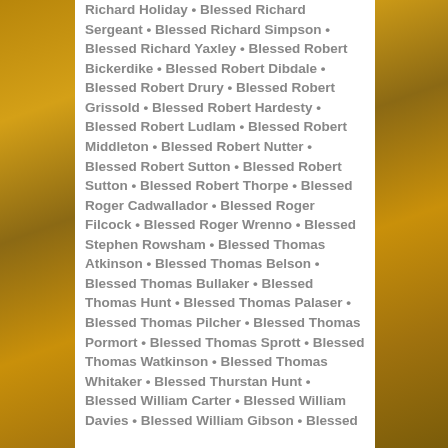Richard Holiday • Blessed Richard Sergeant • Blessed Richard Simpson • Blessed Richard Yaxley • Blessed Robert Bickerdike • Blessed Robert Dibdale • Blessed Robert Drury • Blessed Robert Grissold • Blessed Robert Hardesty • Blessed Robert Ludlam • Blessed Robert Middleton • Blessed Robert Nutter • Blessed Robert Sutton • Blessed Robert Sutton • Blessed Robert Thorpe • Blessed Roger Cadwallador • Blessed Roger Filcock • Blessed Roger Wrenno • Blessed Stephen Rowsham • Blessed Thomas Atkinson • Blessed Thomas Belson • Blessed Thomas Bullaker • Blessed Thomas Hunt • Blessed Thomas Palaser • Blessed Thomas Pilcher • Blessed Thomas Pormort • Blessed Thomas Sprott • Blessed Thomas Watkinson • Blessed Thomas Whitaker • Blessed Thurstan Hunt • Blessed William Carter • Blessed William Davies • Blessed William Gibson • Blessed